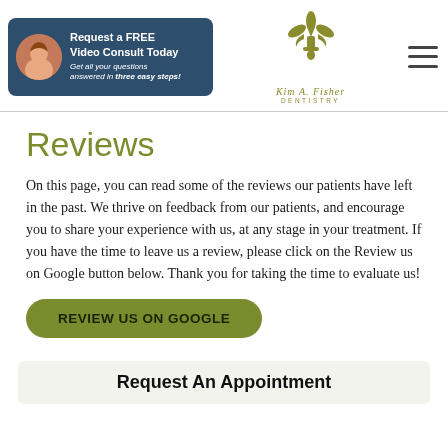[Figure (screenshot): Website header with a free video consult banner on the left (dark blue background, woman photo), a fleur-de-lis dental practice logo in the center, and a hamburger menu icon on the right.]
Reviews
On this page, you can read some of the reviews our patients have left in the past. We thrive on feedback from our patients, and encourage you to share your experience with us, at any stage in your treatment. If you have the time to leave us a review, please click on the Review us on Google button below. Thank you for taking the time to evaluate us!
Review Us On Google
Request An Appointment